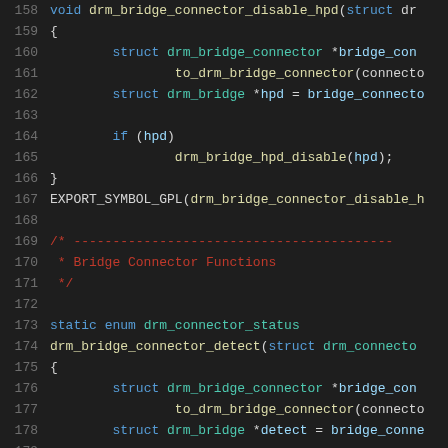[Figure (screenshot): Source code screenshot showing C code for DRM bridge connector functions, lines 158-178, with syntax highlighting on dark background. Contains void drm_bridge_connector_disable_hpd function, EXPORT_SYMBOL_GPL macro, comment block for Bridge Connector Functions, static enum drm_connector_status, and drm_bridge_connector_detect function.]